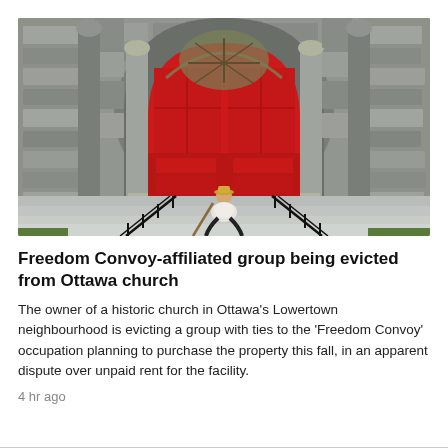[Figure (photo): A person crouching on the stone steps of a historic church with large red arched doors and grey stone masonry walls]
Freedom Convoy-affiliated group being evicted from Ottawa church
The owner of a historic church in Ottawa's Lowertown neighbourhood is evicting a group with ties to the 'Freedom Convoy' occupation planning to purchase the property this fall, in an apparent dispute over unpaid rent for the facility.
4 hr ago